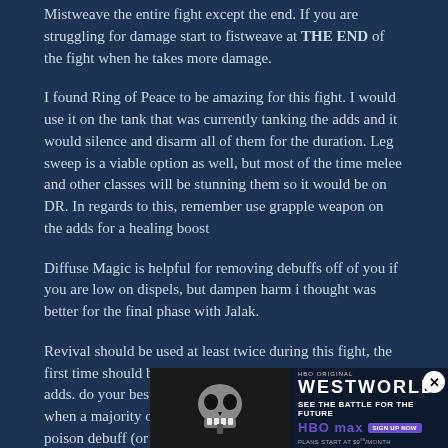Mistweave the entire fight except the end. If you are struggling for damage start to fistweave at THE END of the fight when he takes more damage.
I found Ring of Peace to be amazing for this fight. I would use it on the tank that was currently tanking the adds and it would silence and disarm all of them for the duration. Leg sweep is a viable option as well, but most of the time melee and other classes will be stunning them so it would be on DR. In regards to this, remember use grapple weapon on the adds for a healing boost
Diffuse Magic is helpful for removing debuffs off of you if you are low on dispels, but dampen harm i thought was better for the final phase with Jalak.
Revival should be used at least twice during this fight, the first time should be during the 2nd gate with the poison adds. do your best to dispel as much as you can, and save it when a majority of the raiders have about 5+ stacks of the poison debuff (or if the adds have died or are going to die soon). The next time it should be used...
Council...
[Figure (other): Westworld HBO advertisement banner with skull imagery, HBO Max logo, tagline 'SEE THE BATTLE FOR THE FUTURE', and sign-up button. Has a close (X) button in the top right corner.]